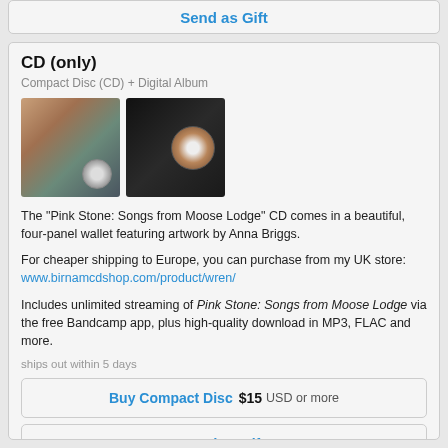Send as Gift
CD (only)
Compact Disc (CD) + Digital Album
[Figure (photo): Two product photos: left shows CD album front cover with pink/teal artwork; right shows CD disc and case on dark background]
The "Pink Stone: Songs from Moose Lodge" CD comes in a beautiful, four-panel wallet featuring artwork by Anna Briggs.
For cheaper shipping to Europe, you can purchase from my UK store: www.birnamcdshop.com/product/wren/
Includes unlimited streaming of Pink Stone: Songs from Moose Lodge via the free Bandcamp app, plus high-quality download in MP3, FLAC and more.
ships out within 5 days
Buy Compact Disc  $15  USD or more
Send as Gift